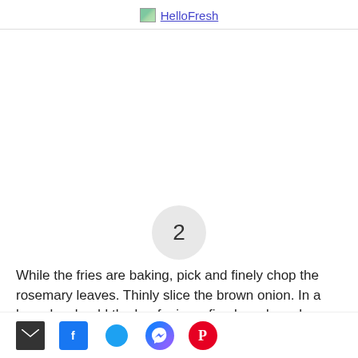HelloFresh
[Figure (photo): Step 2 food preparation image area (white/blank)]
2 While the fries are baking, pick and finely chop the rosemary leaves. Thinly slice the brown onion. In a large bowl, add the beef mince, fine breadcrumbs (see ingredients), egg, Aussie
Email, Facebook, Twitter, Messenger, Pinterest social sharing icons